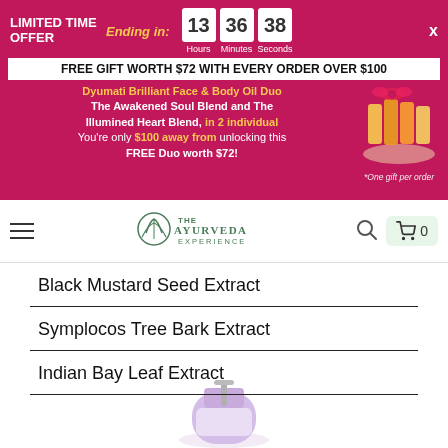LIMITED TIME OFFER
Ending in: 13 Hours 36 Minutes 38 Seconds
FREE GIFT WORTH $72 WITH EVERY ORDER OVER $100
Dyumati Brilliant Face & Body Oil Duo The Awakened Soul Blend and The Illumined Heart Blend, in 2 individual You're only $100 away from unlocking this FREE Duo worth $72!
[Figure (photo): Gift set photo with bottles and bow]
*One gift per order
[Figure (logo): The Ayurveda Experience logo with lotus leaf]
Black Mustard Seed Extract
Symplocos Tree Bark Extract
Indian Bay Leaf Extract
[Figure (photo): Purple product bottle with pump dispenser]